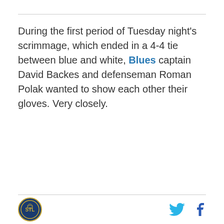During the first period of Tuesday night's scrimmage, which ended in a 4-4 tie between blue and white, Blues captain David Backes and defenseman Roman Polak wanted to show each other their gloves. Very closely.
[logo] [twitter icon] [facebook icon]